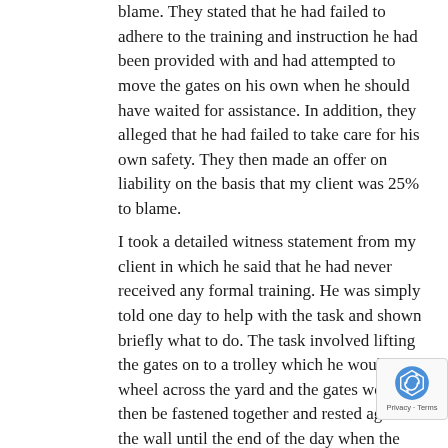blame. They stated that he had failed to adhere to the training and instruction he had been provided with and had attempted to move the gates on his own when he should have waited for assistance. In addition, they alleged that he had failed to take care for his own safety. They then made an offer on liability on the basis that my client was 25% to blame.
I took a detailed witness statement from my client in which he said that he had never received any formal training. He was simply told one day to help with the task and shown briefly what to do. The task involved lifting the gates on to a trolley which he would then wheel across the yard and the gates would then be fastened together and rested against the wall until the end of the day when the process would be reversed. My client said that he and several of his colleagues had complained about the job as being unsafe but that nothing had been done about it.